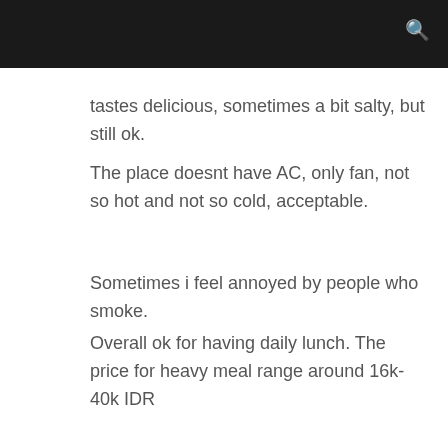tastes delicious, sometimes a bit salty, but still ok.
The place doesnt have AC, only fan, not so hot and not so cold, acceptable.
Sometimes i feel annoyed by people who smoke.
Overall ok for having daily lunch. The price for heavy meal range around 16k-40k IDR